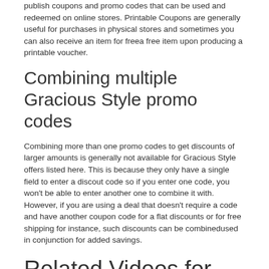publish coupons and promo codes that can be used and redeemed on online stores. Printable Coupons are generally useful for purchases in physical stores and sometimes you can also receive an item for freea free item upon producing a printable voucher.
Combining multiple Gracious Style promo codes
Combining more than one promo codes to get discounts of larger amounts is generally not available for Gracious Style offers listed here. This is because they only have a single field to enter a discout code so if you enter one code, you won't be able to enter another one to combine it with. However, if you are using a deal that doesn't require a code and have another coupon code for a flat discounts or for free shipping for instance, such discounts can be combinedused in conjunction for added savings.
Related Videos for Gracious Style
[Figure (screenshot): YouTube video embed showing 'The Most Gracefu...' with a circular thumbnail of a swimmer in blue water and three-dot menu icon, on a black background.]